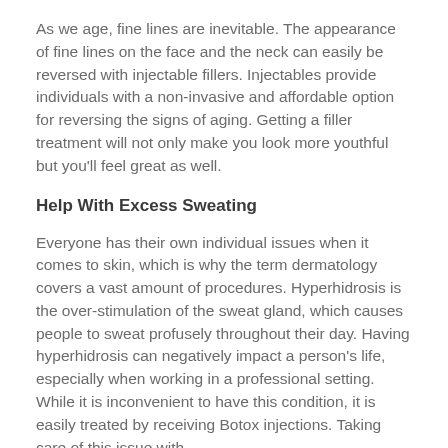As we age, fine lines are inevitable. The appearance of fine lines on the face and the neck can easily be reversed with injectable fillers. Injectables provide individuals with a non-invasive and affordable option for reversing the signs of aging. Getting a filler treatment will not only make you look more youthful but you'll feel great as well.
Help With Excess Sweating
Everyone has their own individual issues when it comes to skin, which is why the term dermatology covers a vast amount of procedures. Hyperhidrosis is the over-stimulation of the sweat gland, which causes people to sweat profusely throughout their day. Having hyperhidrosis can negatively impact a person's life, especially when working in a professional setting. While it is inconvenient to have this condition, it is easily treated by receiving Botox injections. Taking care of this issue with